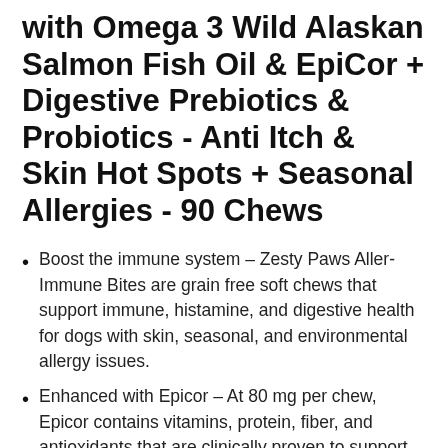with Omega 3 Wild Alaskan Salmon Fish Oil & EpiCor + Digestive Prebiotics & Probiotics - Anti Itch & Skin Hot Spots + Seasonal Allergies - 90 Chews
Boost the immune system – Zesty Paws Aller-Immune Bites are grain free soft chews that support immune, histamine, and digestive health for dogs with skin, seasonal, and environmental allergy issues.
Enhanced with Epicor – At 80 mg per chew, Epicor contains vitamins, protein, fiber, and antioxidants that are clinically proven to support the body's natural immune